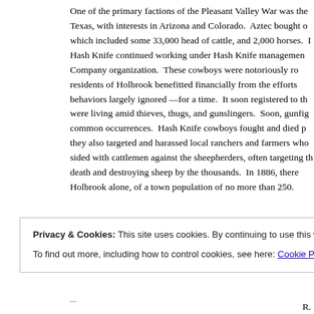One of the primary factions of the Pleasant Valley War was the Texas, with interests in Arizona and Colorado. Aztec bought o which included some 33,000 head of cattle, and 2,000 horses. Hash Knife continued working under Hash Knife management Company organization. These cowboys were notoriously ro residents of Holbrook benefitted financially from the efforts behaviors largely ignored —for a time. It soon registered to th were living amid thieves, thugs, and gunslingers. Soon, gunfig common occurrences. Hash Knife cowboys fought and died p they also targeted and harassed local ranchers and farmers who sided with cattlemen against the sheepherders, often targeting th death and destroying sheep by the thousands. In 1886, there Holbrook alone, of a town population of no more than 250.
Privacy & Cookies: This site uses cookies. By continuing to use this website, you agree to their use.
To find out more, including how to control cookies, see here: Cookie Policy
in Th R.